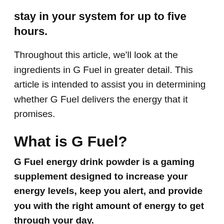stay in your system for up to five hours.
Throughout this article, we'll look at the ingredients in G Fuel in greater detail. This article is intended to assist you in determining whether G Fuel delivers the energy that it promises.
What is G Fuel?
G Fuel energy drink powder is a gaming supplement designed to increase your energy levels, keep you alert, and provide you with the right amount of energy to get through your day.
G Fuel energy beverage powder is an energy drink with a moderate level of caffeine along with a